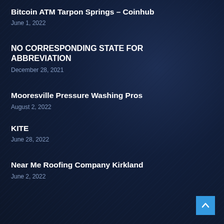Bitcoin ATM Tarpon Springs – Coinhub
June 1, 2022
NO CORRESPONDING STATE FOR ABBREVIATION
December 28, 2021
Mooresville Pressure Washing Pros
August 2, 2022
KITE
June 28, 2022
Near Me Roofing Company Kirkland
June 2, 2022